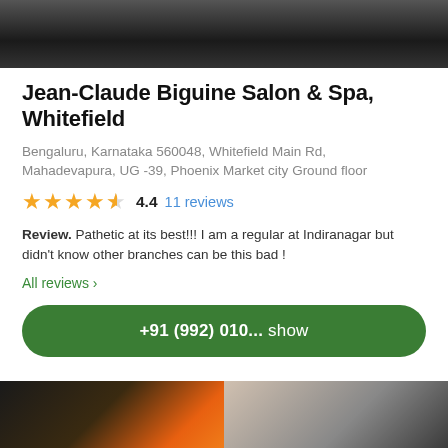[Figure (photo): Top cropped photo of salon exterior or product, dark tones]
Jean-Claude Biguine Salon & Spa, Whitefield
Bengaluru, Karnataka 560048, Whitefield Main Rd, Mahadevapura, UG -39, Phoenix Market city Ground floor
★★★★½ 4.4  11 reviews
Review. Pathetic at its best!!! I am a regular at Indiranagar but didn't know other branches can be this bad !
All reviews ›
+91 (992) 010... show
[Figure (photo): Bottom cropped photo showing people in salon, colorful clothing visible]